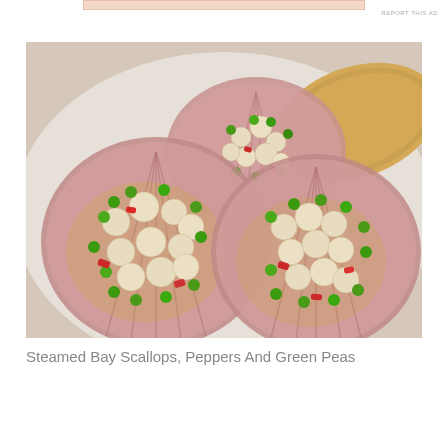[Figure (photo): Three scallop shells on a white plate, each filled with steamed bay scallops, green peas, and diced red peppers in a light sauce. A piece of flatbread/cracker is visible on the right side of the plate.]
Steamed Bay Scallops, Peppers And Green Peas